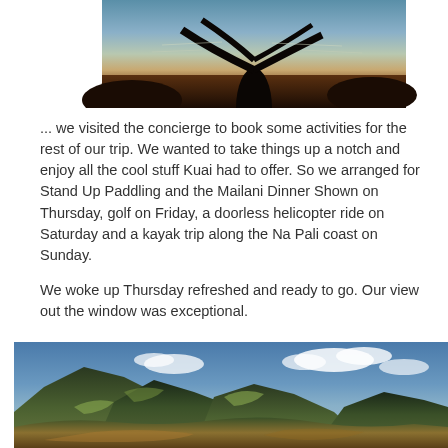[Figure (photo): Silhouette of a tree against a coastal water background at dusk, partial view from top of page]
... we visited the concierge to book some activities for the rest of our trip. We wanted to take things up a notch and enjoy all the cool stuff Kuai had to offer. So we arranged for Stand Up Paddling and the Mailani Dinner Shown on Thursday, golf on Friday, a doorless helicopter ride on Saturday and a kayak trip along the Na Pali coast on Sunday.
We woke up Thursday refreshed and ready to go. Our view out the window was exceptional.
[Figure (photo): HDR photo of dramatic green mountain ridges under a blue sky with white clouds, likely Kauai, Hawaii]